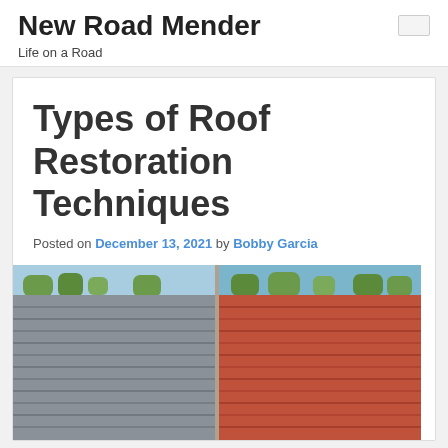New Road Mender
Life on a Road
Types of Roof Restoration Techniques
Posted on December 13, 2021 by Bobby Garcia
[Figure (photo): Split before/after photo of roof tiles: left side shows grey weathered tiles, right side shows restored terracotta/red tiles, with blue sky and trees visible at the top of each half.]